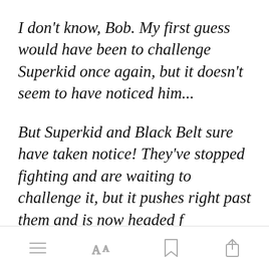I don't know, Bob. My first guess would have been to challenge Superkid once again, but it doesn't seem to have noticed him...
But Superkid and Black Belt sure have taken notice! They've stopped fighting and are waiting to challenge it, but it pushes right past them and is now headed f[Open in app]
[Figure (screenshot): Mobile app toolbar with menu, font size, bookmark, and share icons]